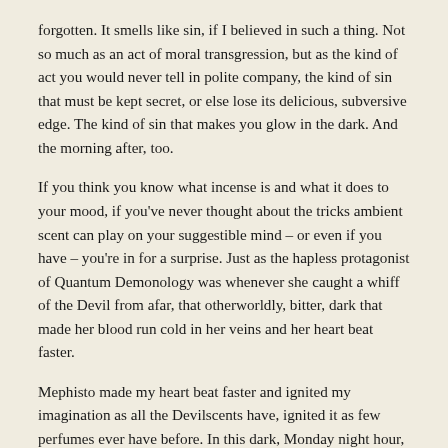forgotten. It smells like sin, if I believed in such a thing. Not so much as an act of moral transgression, but as the kind of act you would never tell in polite company, the kind of sin that must be kept secret, or else lose its delicious, subversive edge. The kind of sin that makes you glow in the dark. And the morning after, too.
If you think you know what incense is and what it does to your mood, if you've never thought about the tricks ambient scent can play on your suggestible mind – or even if you have – you're in for a surprise. Just as the hapless protagonist of Quantum Demonology was whenever she caught a whiff of the Devil from afar, that otherworldly, bitter, dark that made her blood run cold in her veins and her heart beat faster.
Mephisto made my heart beat faster and ignited my imagination as all the Devilscents have, ignited it as few perfumes ever have before. In this dark, Monday night hour, I see it smoldering, and in those formless wisps of smoke, I can squint my eyes and almost see him hovering above.
“No need for that,” say a voice I know too well. “I’m right